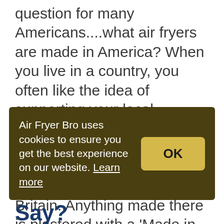We are asking the million dollar question for many Americans....what air fryers are made in America? When you live in a country, you often like the idea of supporting your local workforce. This is where the interest comes from for American-made air fryers. It's exactly the same in Britain. Anything made there is plastered with a 'Made in the UK' sticker 🙂 You will see a line of proud Brits shortly after. Are there any air fryers made in the
Air Fryer Bro uses cookies to ensure you get the best experience on our website. Learn more
Say?